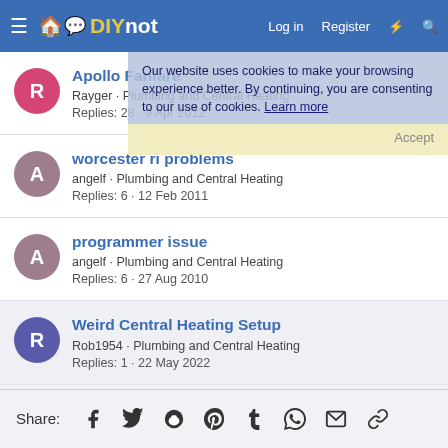DIYnot — Log in | Register
Our website uses cookies to make your browsing experience better. By continuing, you are consenting to our use of cookies. Learn more | Accept
Apollo Fanfare — Rayger · Plumbing and Central Heating — Replies: 28 · 9 Apr 2012
worcester ri problems — angelf · Plumbing and Central Heating — Replies: 6 · 12 Feb 2011
programmer issue — angelf · Plumbing and Central Heating — Replies: 6 · 27 Aug 2010
Weird Central Heating Setup — Rob1954 · Plumbing and Central Heating — Replies: 1 · 22 May 2022
Share: (Facebook, Twitter, Reddit, Pinterest, Tumblr, WhatsApp, Email, Link)